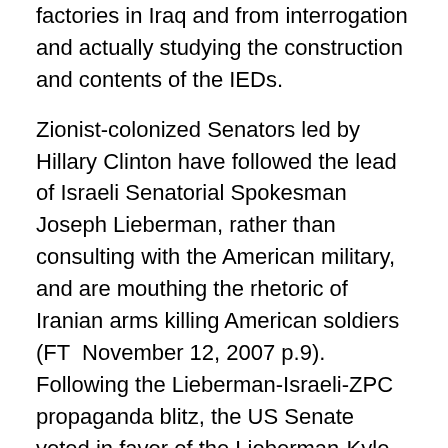factories in Iraq and from interrogation and actually studying the construction and contents of the IEDs.
Zionist-colonized Senators led by Hillary Clinton have followed the lead of Israeli Senatorial Spokesman Joseph Lieberman, rather than consulting with the American military, and are mouthing the rhetoric of Iranian arms killing American soldiers (FT  November 12, 2007 p.9). Following the Lieberman-Israeli-ZPC propaganda blitz, the US Senate voted in favor of the Lieberman-Kyle resolution naming Iran’s principle border defense force, the Republican Guard, a ‘terrorist organization’, moving one step closer to an attack.  The hollowness of this resolution is reflected in the fact to not one of any of the US’s servile allies chose to follow its lead in denouncing the Republican Guard.  Nothing more clearly demonstrates the Israeli-ZPC colonization of the US congress than on